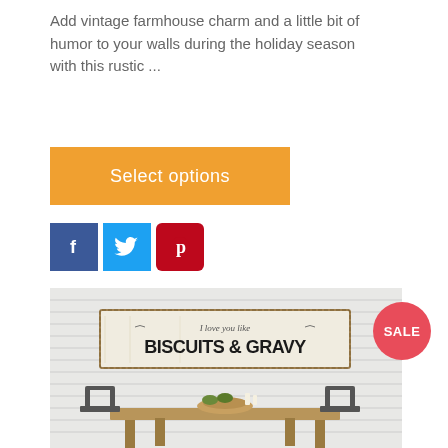Add vintage farmhouse charm and a little bit of humor to your walls during the holiday season with this rustic ...
[Figure (other): Orange 'Select options' button]
[Figure (other): Social sharing icons: Facebook (blue square with 'f'), Twitter (light blue square with bird), Pinterest (red square with 'p' circle)]
[Figure (photo): Rustic farmhouse sign reading 'I love you like BISCUITS & GRAVY' hanging on white shiplap wall above a wooden dining table with chairs]
SALE